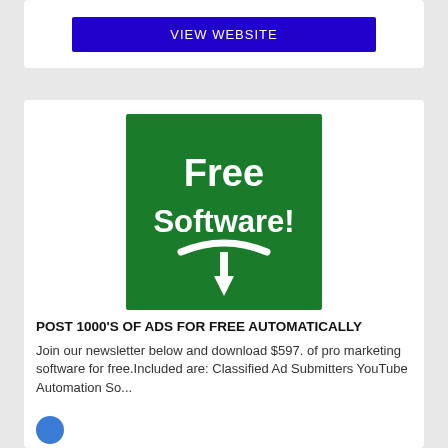VIEW WEBSITE
[Figure (illustration): Green square image with white bold text reading 'Free Software!' and a white curved arrow pointing downward]
POST 1000'S OF ADS FOR FREE AUTOMATICALLY
Join our newsletter below and download $597. of pro marketing software for free.Included are: Classified Ad Submitters YouTube Automation So...